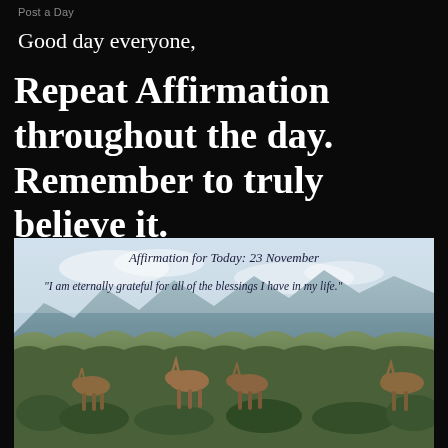Post a Day
Good day everyone,
Repeat Affirmation throughout the day. Remember to truly believe it.
[Figure (photo): Photo of several eland (large African antelopes) standing in scrubland with mountains and a pale blue-grey cloudy sky in the background. Overlaid with text: 'Affirmation for Today: 23 November' and '"I am eternally grateful for all of the blessings I have in my life."']